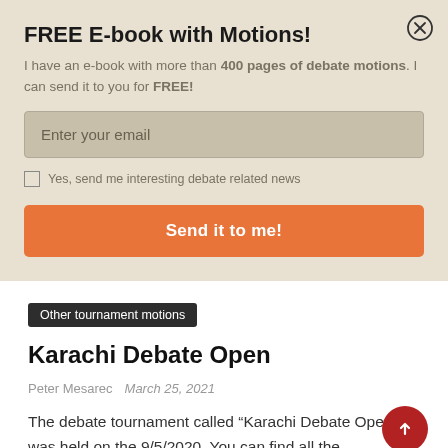FREE E-book with Motions!
I have an e-book with more than 400 pages of debate motions. I can send it to you for FREE!
Enter your email
Yes, send me interesting debate related news
Send it to me!
Other tournament motions
Karachi Debate Open
Peter Mesarec   March 25, 2021
The debate tournament called “Karachi Debate Open” was held on the 9/5/2020. You can find all the